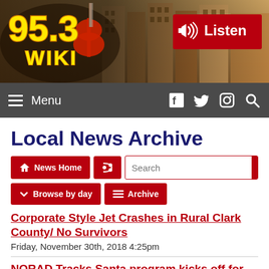[Figure (logo): 95.3 WIKI radio station header banner with logo, guitar graphic, city buildings background, and red Listen button]
≡ Menu  [Facebook] [Twitter] [Instagram] [Search]
Local News Archive
News Home | RSS | Search | Browse by day | Archive (navigation buttons)
Corporate Style Jet Crashes in Rural Clark County/ No Survivors
Friday, November 30th, 2018 4:25pm
NORAD Tracks Santa program kicks off for 2018